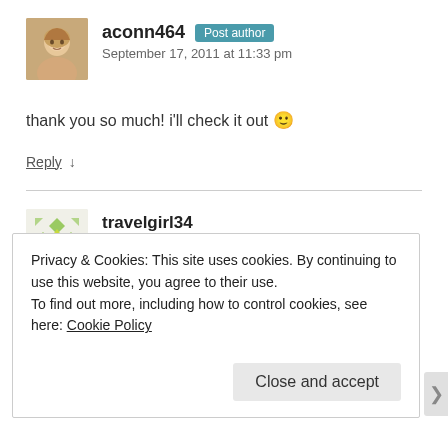aconn464 Post author
September 17, 2011 at 11:33 pm
thank you so much! i'll check it out 🙂
Reply ↓
travelgirl34
October 11, 2011 at 9:55 am
Privacy & Cookies: This site uses cookies. By continuing to use this website, you agree to their use.
To find out more, including how to control cookies, see here: Cookie Policy
Close and accept